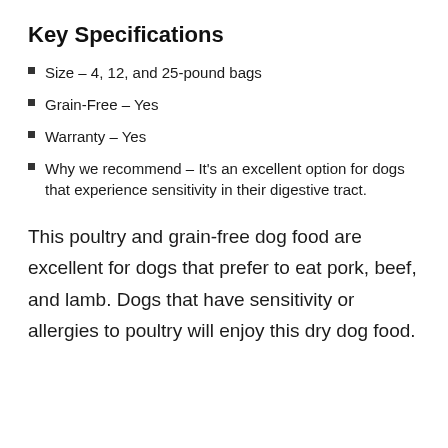Key Specifications
Size – 4, 12, and 25-pound bags
Grain-Free – Yes
Warranty – Yes
Why we recommend – It's an excellent option for dogs that experience sensitivity in their digestive tract.
This poultry and grain-free dog food are excellent for dogs that prefer to eat pork, beef, and lamb. Dogs that have sensitivity or allergies to poultry will enjoy this dry dog food.